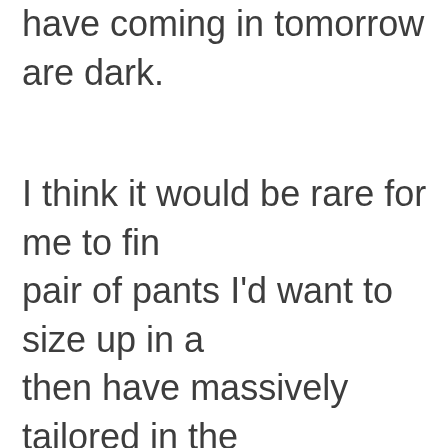have coming in tomorrow are dark.
I think it would be rare for me to find a pair of pants I'd want to size up in and then have massively tailored in the waist avoid this issue, so I think it's trial and error for me if I want this look. That pair, for example, could already be slightly tighter in the waist, and the larger size is long gone. I hesitate to